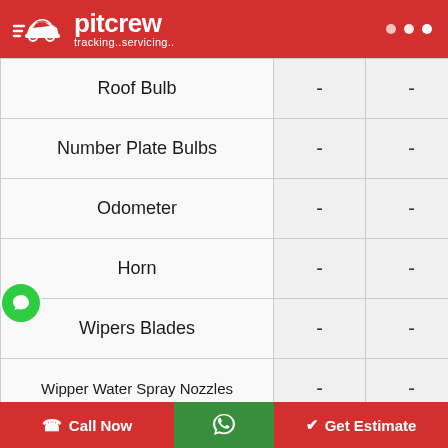pitcrew tracking..servicing..
| Item |  |  |
| --- | --- | --- |
| Roof Bulb | - | - |
| Number Plate Bulbs | - | - |
| Odometer | - | - |
| Horn | - | - |
| Wipers Blades | - | - |
| Wipper Water Spray Nozzles | - | - |
Call Now | WhatsApp | Get Estimate